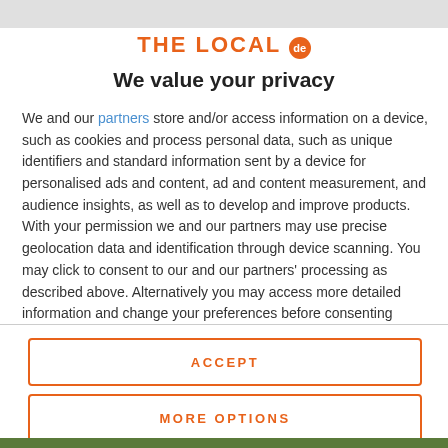[Figure (logo): THE LOCAL de logo with orange text and orange circular badge with 'de' inside]
We value your privacy
We and our partners store and/or access information on a device, such as cookies and process personal data, such as unique identifiers and standard information sent by a device for personalised ads and content, ad and content measurement, and audience insights, as well as to develop and improve products. With your permission we and our partners may use precise geolocation data and identification through device scanning. You may click to consent to our and our partners' processing as described above. Alternatively you may access more detailed information and change your preferences before consenting
ACCEPT
MORE OPTIONS